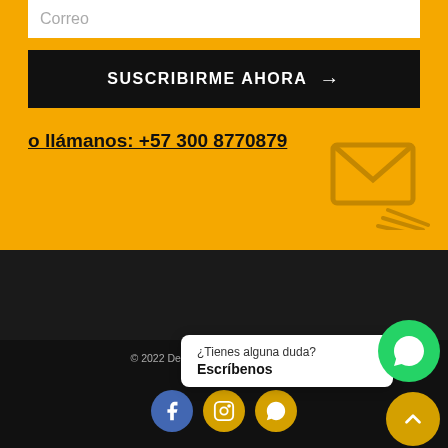Correo
SUSCRIBIRME AHORA →
o llámanos: +57 300 8770879
© 2022 Desarrollado po... Todos los Derechos...
¿Tienes alguna duda?
Escríbenos